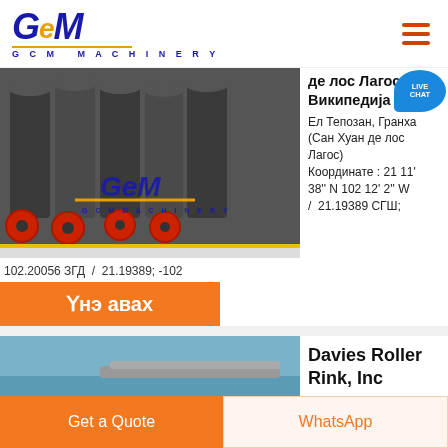[Figure (logo): GCM Machinery logo with blue italic GEM text and gold underline]
[Figure (photo): Industrial cone crushers machinery in a factory, GCM Machinery watermark overlay]
де лос Лагос - Википедија
Ел Тепозан, Гранха (Сан Хуан де лос Лагос) Координате : 21 11' 38'' N 102 12' 2'' W / 21.19389 СГШ;
102.20056 ЗГД / 21.19389; -102
Үнэ авах
[Figure (photo): Industrial conveyor or mining equipment outdoors]
Davies Roller Rink, Inc
Get a Quote
WhatsApp